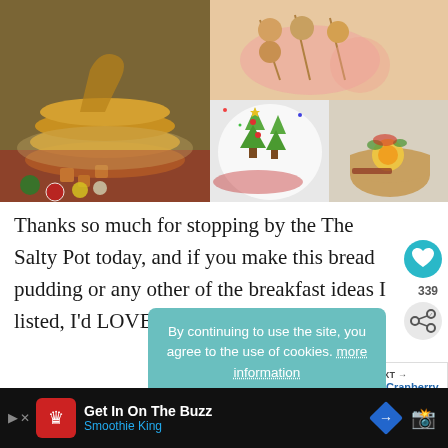[Figure (photo): Food photo collage: pancakes with sauce and pineapple chunks on red cloth with Christmas ornaments (left), skewered donuts/pastries on pink plate (top right), green Christmas tree waffles on white plate (middle right), egg and vegetable muffin cups (bottom right)]
Thanks so much for stopping by the The Salty Pot today, and if you make this bread pudding or any other of the breakfast ideas I listed, I'd LOVE to hear from you!
By continuing to use the site, you agree to the use of cookies. more information
ACCEPT
WHAT'S NEXT → Crock Pot Cranberry a...
339
[Figure (logo): Smoothie King logo and advertisement bar: 'Get In On The Buzz' with Smoothie King branding at bottom of screen]